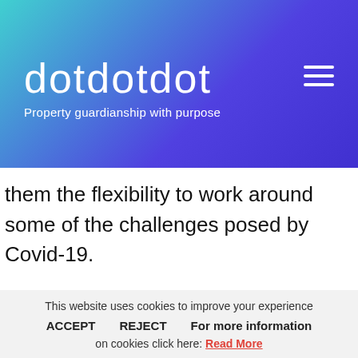[Figure (logo): dotdotdot logo with tagline 'Property guardianship with purpose' on gradient purple-teal header with hamburger menu icon]
them the flexibility to work around some of the challenges posed by Covid-19.
“Our big development project is in an area called Castlefield in High Wycombe, which is made up of large blocks of flats in three areas: Pettifer Way,
This website uses cookies to improve your experience
ACCEPT   REJECT   For more information on cookies click here: Read More